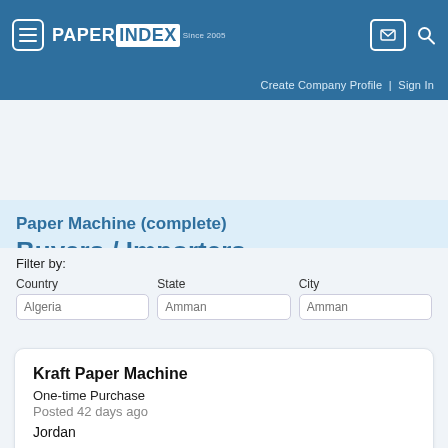Paper Index Since 2005 | Create Company Profile | Sign In
Paper Machine (complete) Buyers / Importers
4 RFQ / RFP from 4 countries
Filter by:
Country
Algeria
State
Amman
City
Amman
Kraft Paper Machine
One-time Purchase
Posted 42 days ago
Jordan